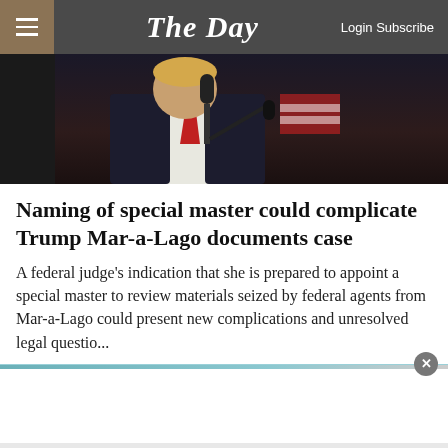The Day | Login Subscribe
[Figure (photo): Photo of a man in a dark suit and red tie speaking at a microphone]
Naming of special master could complicate Trump Mar-a-Lago documents case
A federal judge's indication that she is prepared to appoint a special master to review materials seized by federal agents from Mar-a-Lago could present new complications and unresolved legal questio...